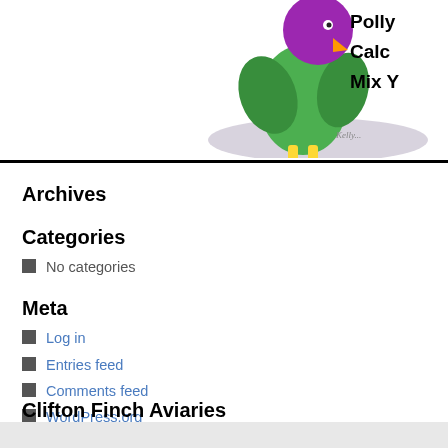[Figure (illustration): Cartoon parrot/bird illustration with green body, purple head, yellow legs, on a gray oval shadow. Partially cropped at top right. Text 'Polly... Calc... Mix Y...' visible beside it.]
Archives
Categories
No categories
Meta
Log in
Entries feed
Comments feed
WordPress.org
Clifton Finch Aviaries